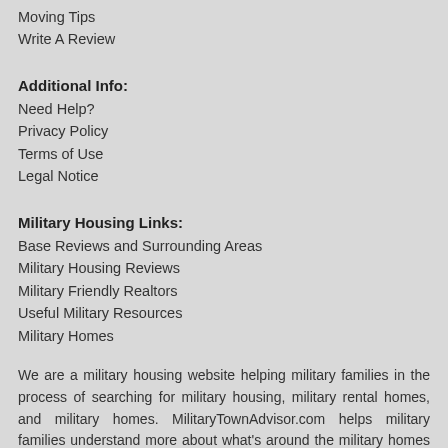Moving Tips
Write A Review
Additional Info:
Need Help?
Privacy Policy
Terms of Use
Legal Notice
Military Housing Links:
Base Reviews and Surrounding Areas
Military Housing Reviews
Military Friendly Realtors
Useful Military Resources
Military Homes
We are a military housing website helping military families in the process of searching for military housing, military rental homes, and military homes. MilitaryTownAdvisor.com helps military families understand more about what's around the military homes by providing honest reviews about off base neighborhoods, areas surrounding the military base, and on base military housing. We also provide reviews from military